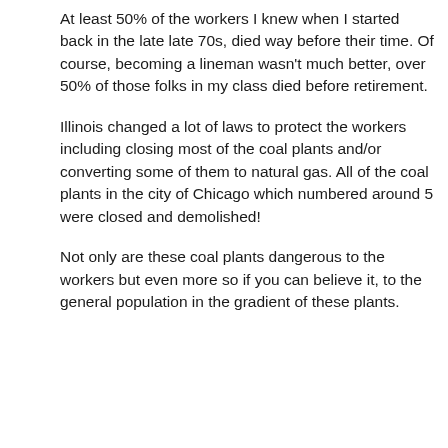At least 50% of the workers I knew when I started back in the late late 70s, died way before their time. Of course, becoming a lineman wasn't much better, over 50% of those folks in my class died before retirement.
Illinois changed a lot of laws to protect the workers including closing most of the coal plants and/or converting some of them to natural gas. All of the coal plants in the city of Chicago which numbered around 5 were closed and demolished!
Not only are these coal plants dangerous to the workers but even more so if you can believe it, to the general population in the gradient of these plants.